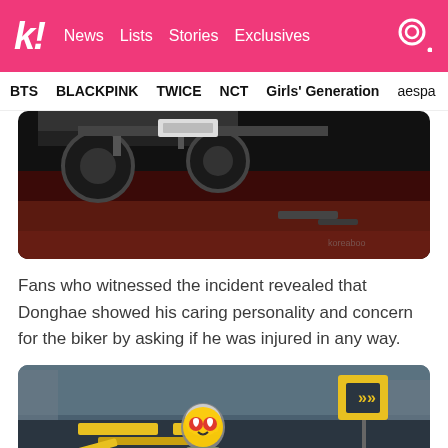k! News Lists Stories Exclusives
BTS BLACKPINK TWICE NCT Girls' Generation aespa
[Figure (photo): Close-up photo of vehicle undercarriage/wheel on dark wet road surface, appears to be aftermath of accident]
Fans who witnessed the incident revealed that Donghae showed his caring personality and concern for the biker by asking if he was injured in any way.
[Figure (photo): Street scene showing a person in a helmet with a heart-eyes emoji overlay, yellow road markings visible, outdoor parking/road area at night]